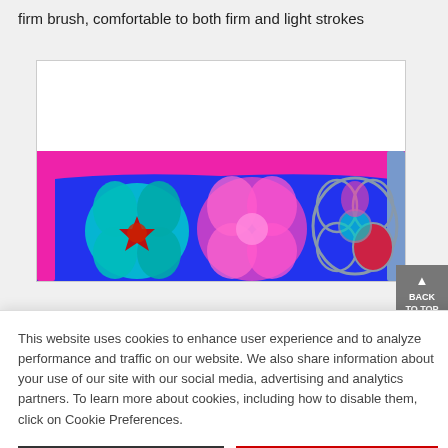firm brush, comfortable to both firm and light strokes
[Figure (illustration): A colorful digital artwork showing stylized flowers in pink, cyan/teal, and gray tones on a bright blue background, with pink framing/border. The top portion of the image area is white/blank.]
This website uses cookies to enhance user experience and to analyze performance and traffic on our website. We also share information about your use of our site with our social media, advertising and analytics partners. To learn more about cookies, including how to disable them, click on Cookie Preferences.
Cookie Preferences
Got It
Helpful?